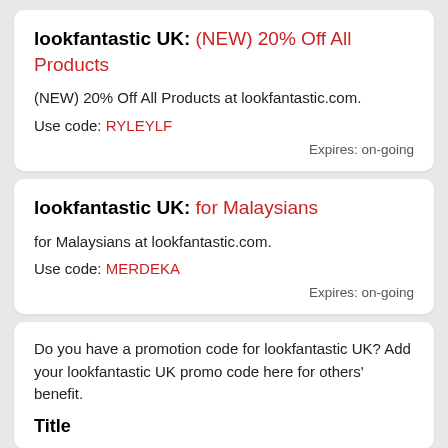lookfantastic UK: (NEW) 20% Off All Products
(NEW) 20% Off All Products at lookfantastic.com.
Use code: RYLEYLF
Expires: on-going
lookfantastic UK: for Malaysians
for Malaysians at lookfantastic.com.
Use code: MERDEKA
Expires: on-going
Do you have a promotion code for lookfantastic UK? Add your lookfantastic UK promo code here for others' benefit.
Title